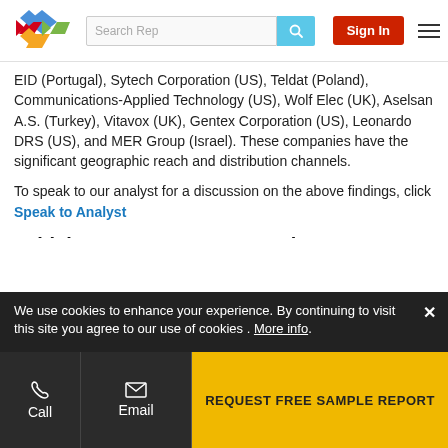Search Rep | Sign In
EID (Portugal), Sytech Corporation (US), Teldat (Poland), Communications-Applied Technology (US), Wolf Elec (UK), Aselsan A.S. (Turkey), Vitavox (UK), Gentex Corporation (US), Leonardo DRS (US), and MER Group (Israel). These companies have the significant geographic reach and distribution channels.
To speak to our analyst for a discussion on the above findings, click Speak to Analyst
Vehicle Intercom System Market News
| Publish |
| --- |
We use cookies to enhance your experience. By continuing to visit this site you agree to our use of cookies . More info.
Call | Email | REQUEST FREE SAMPLE REPORT